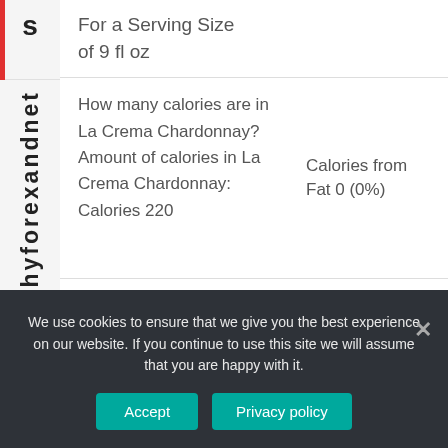s
Whyforexandn
et
For a Serving Size of 9 fl oz
How many calories are in La Crema Chardonnay? Amount of calories in La Crema Chardonnay: Calories 220
Calories from Fat 0 (0%)
We use cookies to ensure that we give you the best experience on our website. If you continue to use this site we will assume that you are happy with it.
Accept
Privacy policy